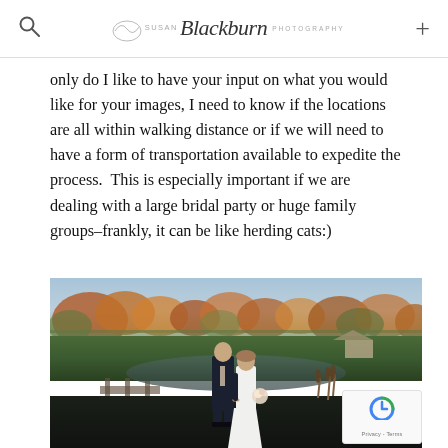Susan Blackburn Photography
only do I like to have your input on what you would like for your images, I need to know if the locations are all within walking distance or if we will need to have a form of transportation available to expedite the process.  This is especially important if we are dealing with a large bridal party or huge family groups–frankly, it can be like herding cats:)
[Figure (photo): Wedding couple walking hand-in-hand outdoors near a pond with autumn trees in the background. The groom wears a dark suit and the bride wears a white dress holding a bouquet. A small building and green lawn are visible in the background.]